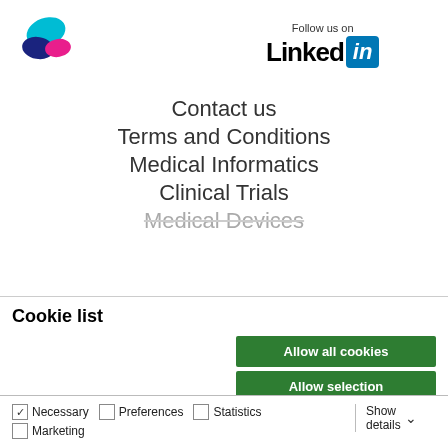[Figure (logo): Colorful abstract logo with teal, blue, and pink shapes]
[Figure (logo): LinkedIn follow us on badge with LinkedIn logo]
Contact us
Terms and Conditions
Medical Informatics
Clinical Trials
Medical Devices
Cookie list
Allow all cookies
Allow selection
Use necessary cookies only
Necessary  Preferences  Statistics  Marketing  Show details